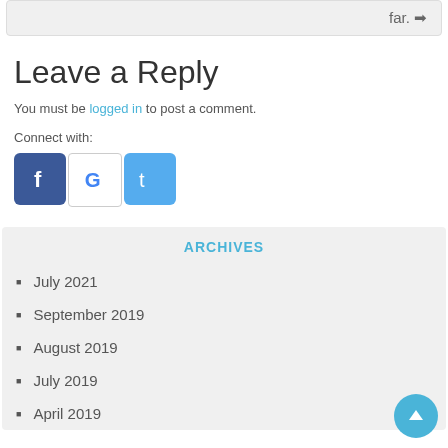far. →
Leave a Reply
You must be logged in to post a comment.
Connect with:
[Figure (logo): Facebook, Google, and Twitter social login icons]
ARCHIVES
July 2021
September 2019
August 2019
July 2019
April 2019